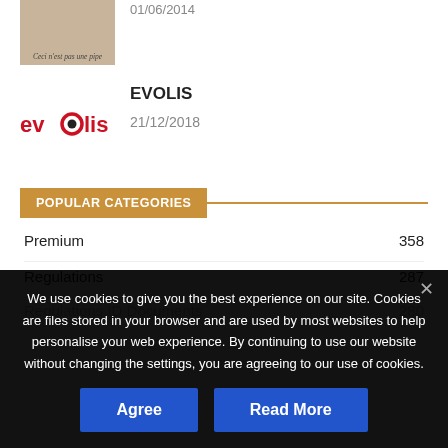[Figure (photo): Small thumbnail image with italic caption 'Ceci n'est pas une pipe' below it]
01/06/2014
EVOLIS
[Figure (logo): Evolis logo in red with stylized O containing a black dot]
21/12/2018
POPULAR CATEGORIES
Premium   358
Regulations   287
Regulations ID Documents   280
We use cookies to give you the best experience on our site. Cookies are files stored in your browser and are used by most websites to help personalise your web experience. By continuing to use our website without changing the settings, you are agreeing to our use of cookies.